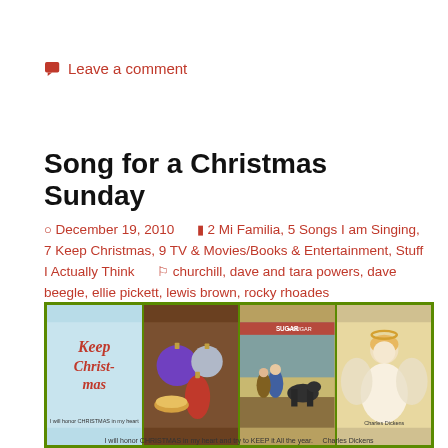Leave a comment
Song for a Christmas Sunday
December 19, 2010   2 Mi Familia, 5 Songs I am Singing, 7 Keep Christmas, 9 TV & Movies/Books & Entertainment, Stuff I Actually Think   churchill, dave and tara powers, dave beegle, ellie pickett, lewis brown, rocky rhoades
[Figure (photo): A four-panel image strip with a green border showing: (1) a 'Keep Christmas' calligraphy card on light blue background with Dickens quote at bottom, (2) colorful Christmas ornaments on a dark background, (3) a nativity scene with figures and a donkey, (4) an angel figurine on a light background. Caption at bottom reads 'I will honor CHRISTMAS in my heart and try to KEEP it All the year. Charles Dickens']